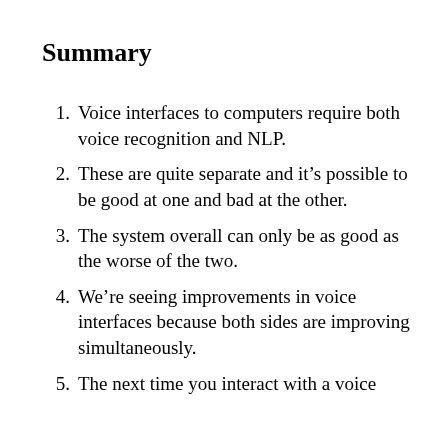Summary
Voice interfaces to computers require both voice recognition and NLP.
These are quite separate and it’s possible to be good at one and bad at the other.
The system overall can only be as good as the worse of the two.
We’re seeing improvements in voice interfaces because both sides are improving simultaneously.
The next time you interact with a voice …